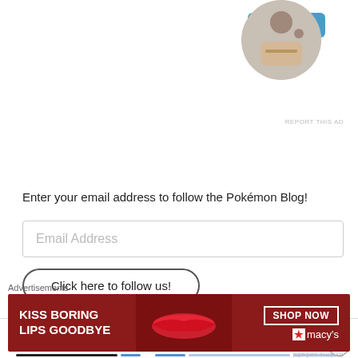[Figure (other): Blue Apply button, rounded rectangle]
[Figure (photo): Circular cropped photo of a man sitting at a desk, thinking]
REPORT THIS AD
Enter your email address to follow the Pokémon Blog!
[Figure (other): Email Address input text field]
[Figure (other): Click here to follow us! button, rounded pill shape]
🔥 Hot topics & photos 🔥
Advertisements
[Figure (other): Advertisement banner: KISS BORING LIPS GOODBYE with SHOP NOW and macy's logo on dark red background]